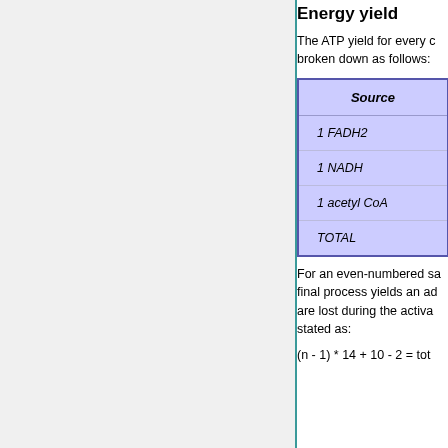Energy yield
The ATP yield for every c broken down as follows:
| Source |
| --- |
| 1 FADH2 |
| 1 NADH |
| 1 acetyl CoA |
| TOTAL |
For an even-numbered sa final process yields an ad are lost during the activa stated as: